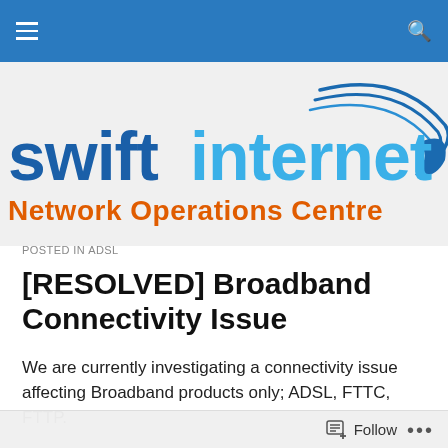Swift Internet Network Operations Centre
[Figure (logo): Swift Internet Network Operations Centre logo — 'swiftinternet' in blue/dark-blue bold sans-serif with orange swoosh accent, 'Network Operations Centre' in orange below]
POSTED IN ADSL
[RESOLVED] Broadband Connectivity Issue
We are currently investigating a connectivity issue affecting Broadband products only; ADSL, FTTC, FTTP.